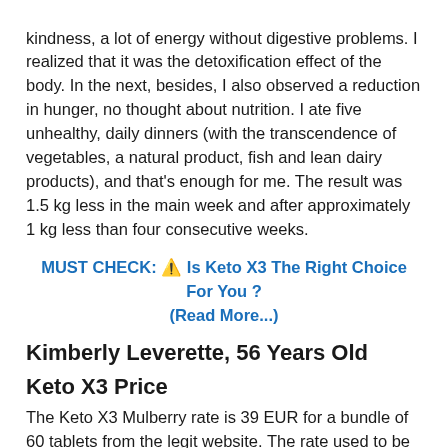kindness, a lot of energy without digestive problems. I realized that it was the detoxification effect of the body. In the next, besides, I also observed a reduction in hunger, no thought about nutrition. I ate five unhealthy, daily dinners (with the transcendence of vegetables, a natural product, fish and lean dairy products), and that's enough for me. The result was 1.5 kg less in the main week and after approximately 1 kg less than four consecutive weeks.
MUST CHECK: ⚠ Is Keto X3 The Right Choice For You ? (Read More...)
Kimberly Leverette, 56 Years Old
Keto X3 Price
The Keto X3 Mulberry rate is 39 EUR for a bundle of 60 tablets from the legit website. The rate used to be decreased with the aid of 50% from the first charge of 39 usd. The 50% cut price allowed severa humans to achieve